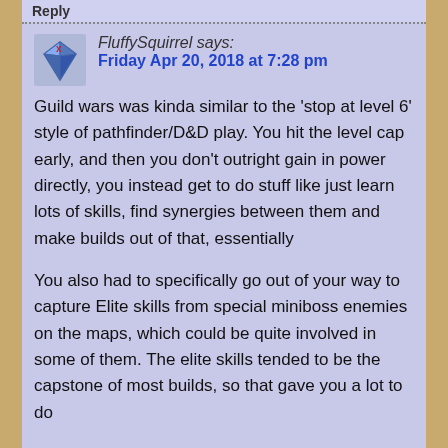Reply
FluffySquirrel says: Friday Apr 20, 2018 at 7:28 pm
Guild wars was kinda similar to the 'stop at level 6' style of pathfinder/D&D play. You hit the level cap early, and then you don't outright gain in power directly, you instead get to do stuff like just learn lots of skills, find synergies between them and make builds out of that, essentially
You also had to specifically go out of your way to capture Elite skills from special miniboss enemies on the maps, which could be quite involved in some of them. The elite skills tended to be the capstone of most builds, so that gave you a lot to do
As well as that, there was always gathering